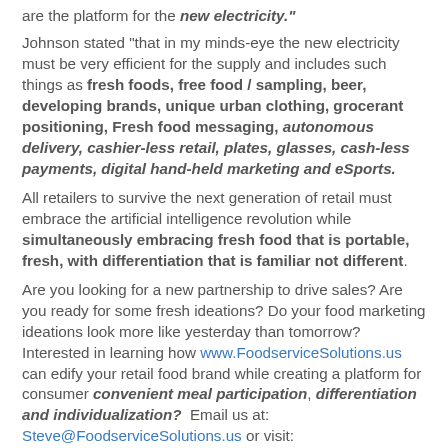are the platform for the new electricity."
Johnson stated “that in my minds-eye the new electricity must be very efficient for the supply and includes such things as fresh foods, free food / sampling, beer, developing brands, unique urban clothing, grocerant positioning, Fresh food messaging, autonomous delivery, cashier-less retail, plates, glasses, cash-less payments, digital hand-held marketing and eSports.
All retailers to survive the next generation of retail must embrace the artificial intelligence revolution while simultaneously embracing fresh food that is portable, fresh, with differentiation that is familiar not different.
Are you looking for a new partnership to drive sales? Are you ready for some fresh ideations? Do your food marketing ideations look more like yesterday than tomorrow? Interested in learning how www.FoodserviceSolutions.us can edify your retail food brand while creating a platform for consumer convenient meal participation, differentiation and individualization?  Email us at: Steve@FoodserviceSolutions.us or visit: www.FoodserviceSolutions.us for more information